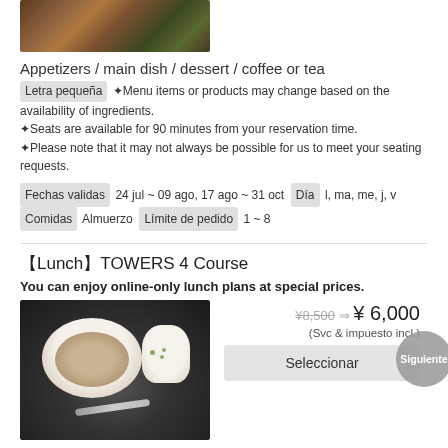[Figure (photo): Top portion of food photo showing grains/seeds with green limes on a dark plate]
Appetizers / main dish / dessert / coffee or tea
Letra pequeña ✦Menu items or products may change based on the availability of ingredients.
✦Seats are available for 90 minutes from your reservation time.
✦Please note that it may not always be possible for us to meet your seating requests.
Fechas validas 24 jul ~ 09 ago, 17 ago ~ 31 oct  Día l, ma, me, j, v
Comidas Almuerzo  Límite de pedido 1 ~ 8
【Lunch】TOWERS 4 Course
You can enjoy online-only lunch plans at special prices.
[Figure (photo): Food photo showing a white bowl with grain/porridge and a white creamer/pourer on a dark plate with a spoon]
¥8,500 ⇒¥ 6,000 (Svc & impuesto incl.)
Seleccionar
Siguiente